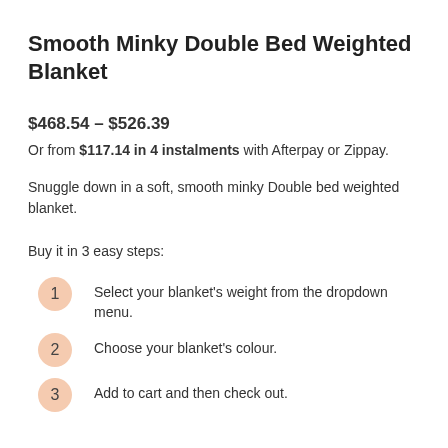Smooth Minky Double Bed Weighted Blanket
$468.54 – $526.39
Or from $117.14 in 4 instalments with Afterpay or Zippay.
Snuggle down in a soft, smooth minky Double bed weighted blanket.
Buy it in 3 easy steps:
Select your blanket's weight from the dropdown menu.
Choose your blanket's colour.
Add to cart and then check out.